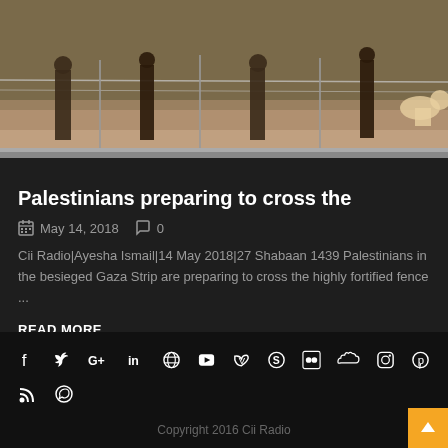[Figure (photo): Photograph of Palestinians near a highly fortified fence/barrier, people visible as silhouettes standing near barbed wire fence with dry grass landscape background]
Palestinians preparing to cross the
May 14, 2018   0
Cii Radio|Ayesha Ismail|14 May 2018|27 Shabaan 1439 Palestinians in the besieged Gaza Strip are preparing to cross the highly fortified fence ...
READ MORE
[Figure (infographic): Social media icons row: Facebook, Twitter, Google+, LinkedIn, Dribbble, YouTube, Vimeo, Skype, Flickr, SoundCloud, Instagram, Pinterest, RSS, WhatsApp]
Copyright 2016 Cii Radio